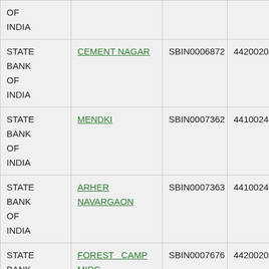| STATE BANK OF INDIA |  |  |  |
| STATE BANK OF INDIA | CEMENT NAGAR | SBIN0006872 | 442002007 |
| STATE BANK OF INDIA | MENDKI | SBIN0007362 | 441002494 |
| STATE BANK OF INDIA | ARHER NAVARGAON | SBIN0007363 | 441002487 |
| STATE BANK OF INDIA | FOREST CAMP MIDC CHANDRAPUR | SBIN0007676 | 442002008 |